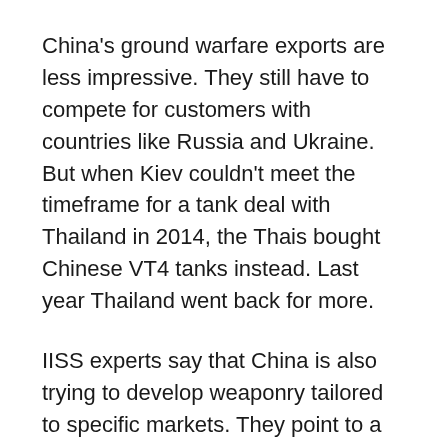China's ground warfare exports are less impressive. They still have to compete for customers with countries like Russia and Ukraine. But when Kiev couldn't meet the timeframe for a tank deal with Thailand in 2014, the Thais bought Chinese VT4 tanks instead. Last year Thailand went back for more.
IISS experts say that China is also trying to develop weaponry tailored to specific markets. They point to a new light tank for example intended for African countries, whose roads and infrastructure would not be able to cope with many of the heavier models offered by others.
China's growing role as a source of sophisticated